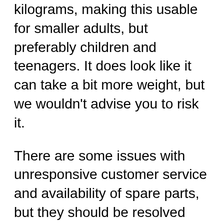kilograms, making this usable for smaller adults, but preferably children and teenagers. It does look like it can take a bit more weight, but we wouldn't advise you to risk it.
There are some issues with unresponsive customer service and availability of spare parts, but they should be resolved eventually, if you're willing to wait. The warranty is one year from the purchase date for the frame, and six months for other parts. On the brighter side, assembly is intuitive and the structural integrity is very good. This is primarily due to their proprietary Tramp Klamp system, where reinforced brackets are used to link the enclosure with the bottom frame. The end result is more than